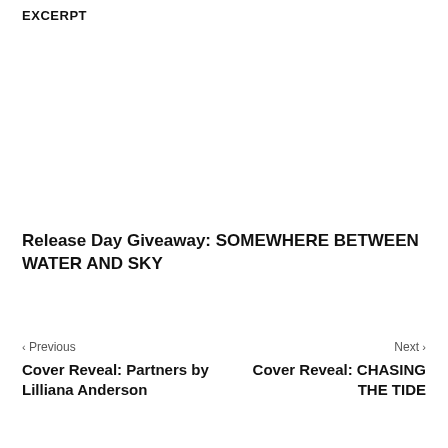EXCERPT
Release Day Giveaway: SOMEWHERE BETWEEN WATER AND SKY
‹ Previous
Cover Reveal: Partners by Lilliana Anderson
Next ›
Cover Reveal: CHASING THE TIDE